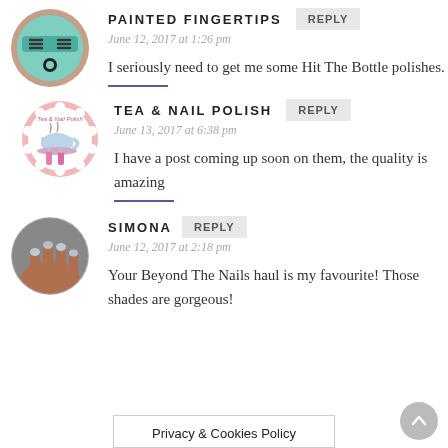[Figure (illustration): Cartoon avatar of a round face with teal skin, horizontal squinting eyes, and an 'O' shaped mouth, in a circular frame]
PAINTED FINGERTIPS
June 12, 2017 at 1:26 pm
I seriously need to get me some Hit The Bottle polishes.
[Figure (logo): Tea & Nail Polish logo: a teacup with nail polish bottles in a doily-style circle with pink border]
TEA & NAIL POLISH
June 13, 2017 at 6:38 pm
I have a post coming up soon on them, the quality is amazing
[Figure (photo): Circular photo of a hand with silver/grey nail polish applied]
SIMONA
June 12, 2017 at 2:18 pm
Your Beyond The Nails haul is my favourite! Those shades are gorgeous!
Privacy & Cookies Policy